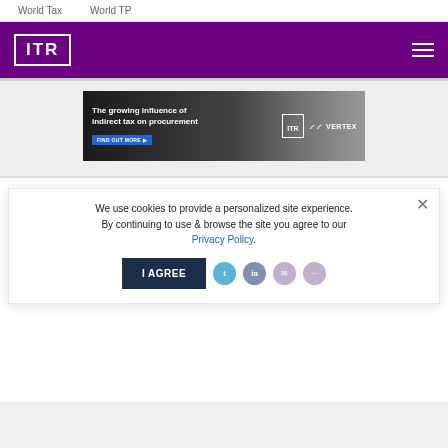World Tax    World TP
[Figure (logo): ITR (International Tax Review) logo in white on purple header background with hamburger menu icon]
[Figure (screenshot): Advertisement banner: 'The growing influence of indirect tax on procurement' with ITR and VERTEX logos, FIND OUT MORE button]
The future of Israeli indirect taxation
September 30, 2012
Israel has introduced a number of indirect tax changes recently. Tel Hai and...
We use cookies to provide a personalized site experience. By continuing to use & browse the site you agree to our Privacy Policy.